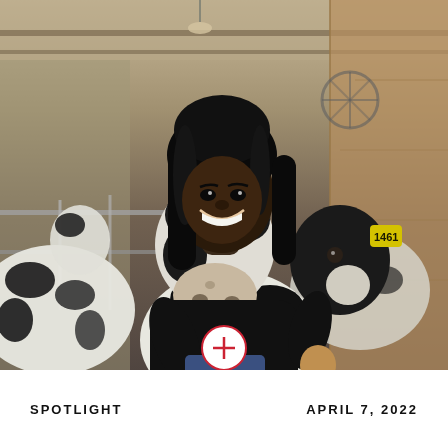[Figure (photo): A smiling woman with long dark braided hair, wearing a black hoodie, posing with Holstein dairy cows (black and white) inside a barn/dairy facility. One cow has a yellow ear tag numbered 1461. The barn has metal railings, fans, and wooden walls visible in the background. A circular button with a red plus (+) sign overlays the bottom center of the image.]
SPOTLIGHT
APRIL 7, 2022